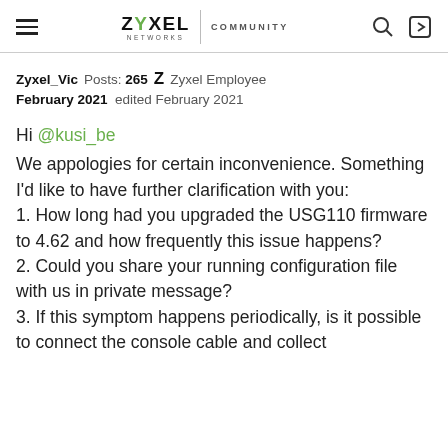ZYXEL NETWORKS | COMMUNITY
Zyxel_Vic  Posts: 265  Z  Zyxel Employee
February 2021  edited February 2021
Hi @kusi_be
We appologies for certain inconvenience. Something I'd like to have further clarification with you:
1. How long had you upgraded the USG110 firmware to 4.62 and how frequently this issue happens?
2. Could you share your running configuration file with us in private message?
3. If this symptom happens periodically, is it possible to connect the console cable and collect the debugs at a given time?